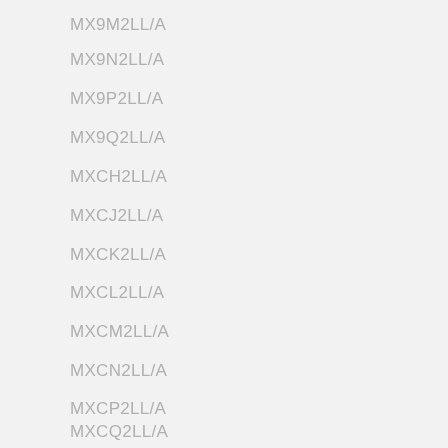MX9M2LL/A
MX9N2LL/A
MX9P2LL/A
MX9Q2LL/A
MXCH2LL/A
MXCJ2LL/A
MXCK2LL/A
MXCL2LL/A
MXCM2LL/A
MXCN2LL/A
MXCP2LL/A
MXCQ2LL/A